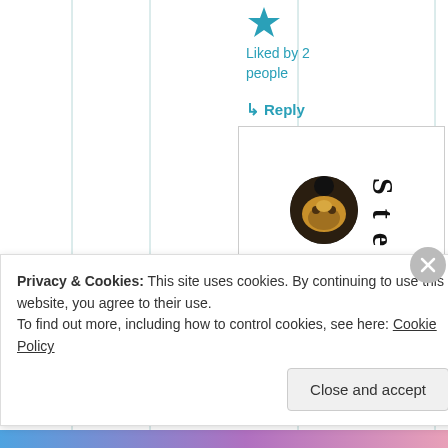[Figure (illustration): Teal/blue star icon (like/favorite button)]
Liked by 2 people
↳ Reply
[Figure (photo): Circular avatar photo of a bearded dragon or similar reptile/animal with dark background]
Stev
Privacy & Cookies: This site uses cookies. By continuing to use this website, you agree to their use.
To find out more, including how to control cookies, see here: Cookie Policy
Close and accept